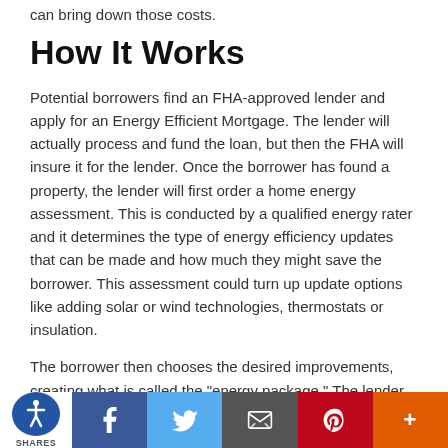can bring down those costs.
How It Works
Potential borrowers find an FHA-approved lender and apply for an Energy Efficient Mortgage. The lender will actually process and fund the loan, but then the FHA will insure it for the lender. Once the borrower has found a property, the lender will first order a home energy assessment. This is conducted by a qualified energy rater and it determines the type of energy efficiency updates that can be made and how much they might save the borrower. This assessment could turn up update options like adding solar or wind technologies, thermostats or insulation.
The borrower then chooses the desired improvements, creating what is called the "energy package." The lender estimates the total cost of the energy package which include labor, materials, inspections and the home energy assessment fee. This energy package must be